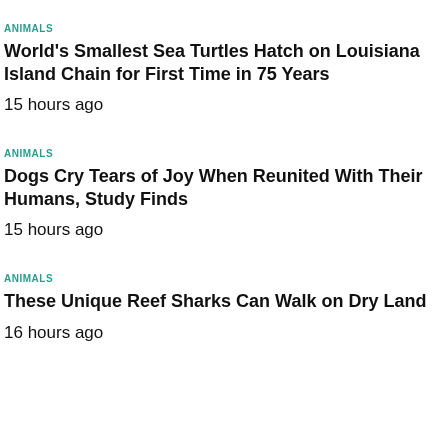ANIMALS
World's Smallest Sea Turtles Hatch on Louisiana Island Chain for First Time in 75 Years
15 hours ago
ANIMALS
Dogs Cry Tears of Joy When Reunited With Their Humans, Study Finds
15 hours ago
ANIMALS
These Unique Reef Sharks Can Walk on Dry Land
16 hours ago